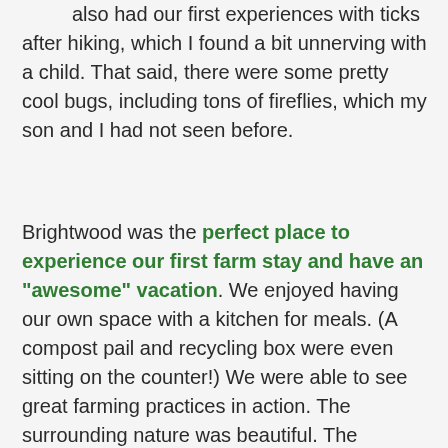back into the wild, not just dispatching. We also had our first experiences with ticks after hiking, which I found a bit unnerving with a child. That said, there were some pretty cool bugs, including tons of fireflies, which my son and I had not seen before.
Brightwood was the perfect place to experience our first farm stay and have an "awesome" vacation. We enjoyed having our own space with a kitchen for meals. (A compost pail and recycling box were even sitting on the counter!) We were able to see great farming practices in action. The surrounding nature was beautiful. The breakfasts provided by the farm